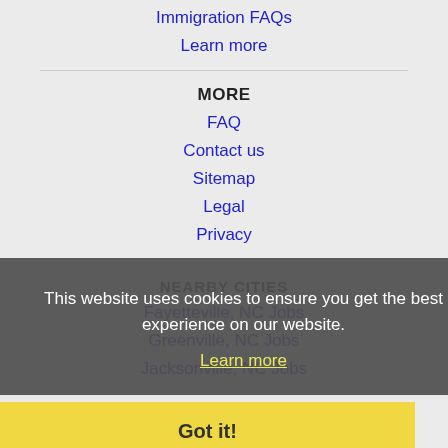Immigration FAQs
Learn more
MORE
FAQ
Contact us
Sitemap
Legal
Privacy
NEARBY CITIES
Fayetteville, NC Jobs
Greenville, NC Jobs
Jacksonville, NC Jobs
This website uses cookies to ensure you get the best experience on our website.
Learn more
Got it!